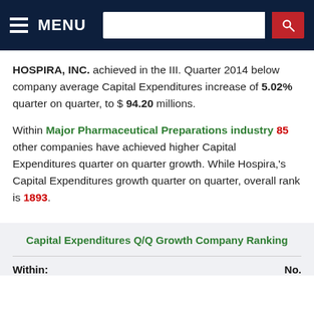MENU [search bar]
HOSPIRA, INC. achieved in the III. Quarter 2014 below company average Capital Expenditures increase of 5.02% quarter on quarter, to $ 94.20 millions.
Within Major Pharmaceutical Preparations industry 85 other companies have achieved higher Capital Expenditures quarter on quarter growth. While Hospira,'s Capital Expenditures growth quarter on quarter, overall rank is 1893.
Capital Expenditures Q/Q Growth Company Ranking
Within:                                                           No.